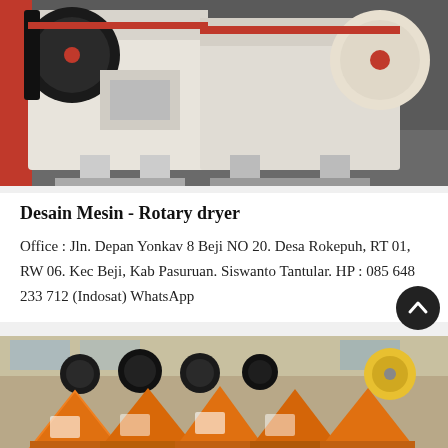[Figure (photo): Industrial jaw crusher machines with red and white metal frames, pulleys, and belts in a factory or warehouse setting.]
Desain Mesin - Rotary dryer
Office : Jln. Depan Yonkav 8 Beji NO 20. Desa Rokepuh, RT 01, RW 06. Kec Beji, Kab Pasuruan. Siswanto Tantular. HP : 085 648 233 712 (Indosat) WhatsApp
[Figure (photo): Multiple orange-colored industrial hopper/feeder machines with black pulleys and wheels lined up in a factory.]